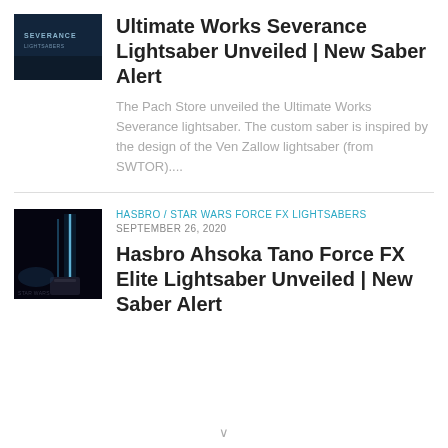[Figure (photo): Thumbnail image showing Severance lightsaber product with dark blue background and text overlay]
Ultimate Works Severance Lightsaber Unveiled | New Saber Alert
The Pach Store unveiled the Ultimate Works Severance lightsaber. The custom saber is inspired by the design of the Ven Zallow lightsaber (from SWTOR)....
[Figure (photo): Thumbnail image showing Hasbro Ahsoka Tano Force FX Elite Lightsaber - blue lightsaber on dark background]
HASBRO / STAR WARS FORCE FX LIGHTSABERS
SEPTEMBER 26, 2020
Hasbro Ahsoka Tano Force FX Elite Lightsaber Unveiled | New Saber Alert